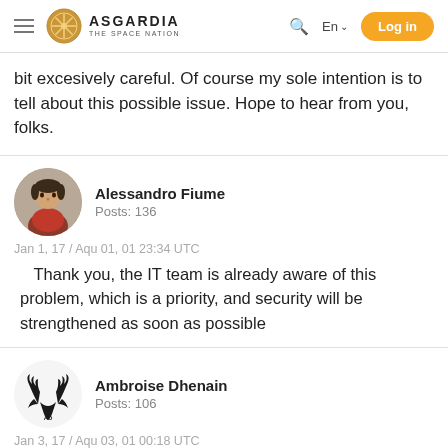ASGARDIA THE SPACE NATION — En — Log in
bit excesively careful. Of course my sole intention is to tell about this possible issue. Hope to hear from you, folks.
Alessandro Fiume
Posts: 136
Jan 1, 17 / Aqu 01, 01 23:34 UTC
Thank you, the IT team is already aware of this problem, which is a priority, and security will be strengthened as soon as possible
Ambroise Dhenain
Posts: 106
Jan 3, 17 / Aqu 03, 01 00:18 UTC